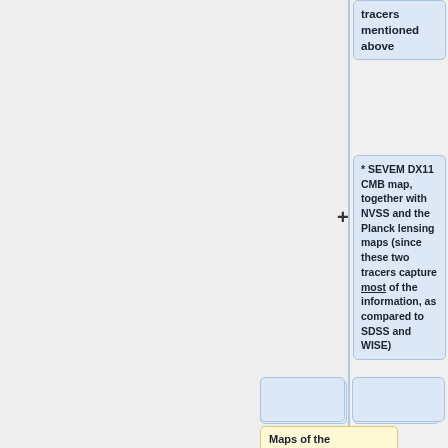tracers mentioned above
* SEVEM DX11 CMB map, together with NVSS and the Planck lensing maps (since these two tracers capture most of the information, as compared to SDSS and WISE)
Maps of the Crab nebula at 89.189 GHz (HCO+(1-0)